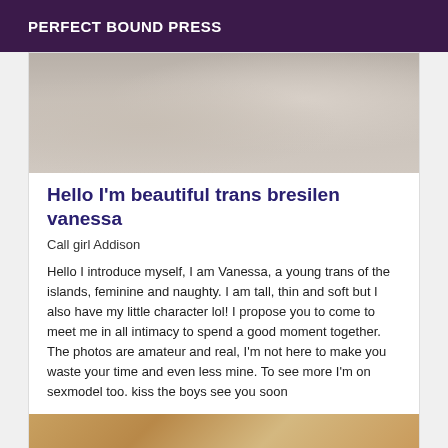PERFECT BOUND PRESS
[Figure (photo): Partial photo of a person's torso and arm against a light background, showing a tattoo on the arm]
Hello I'm beautiful trans bresilen vanessa
Call girl Addison
Hello I introduce myself, I am Vanessa, a young trans of the islands, feminine and naughty. I am tall, thin and soft but I also have my little character lol! I propose you to come to meet me in all intimacy to spend a good moment together. The photos are amateur and real, I'm not here to make you waste your time and even less mine. To see more I'm on sexmodel too. kiss the boys see you soon
[Figure (photo): Partial photo at bottom of page, warm sandy/orange tones]